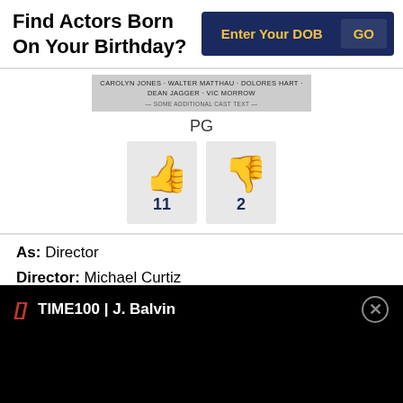Find Actors Born On Your Birthday?
[Figure (screenshot): Movie banner with cast names: CAROLYN JONES · WALTER MATTHAU · DOLORES HART · DEAN JAGGER · VIC MORROW]
PG
[Figure (infographic): Thumbs up icon with count 11, thumbs down icon with count 2]
As: Director
Director: Michael Curtiz
Genres: Musical, Crime, Drama
Star Cast: Carolyn Jones, Walter Matthau, Dean Jagger, Dolores Hart, Elvis Presley
TIME100 | J. Balvin